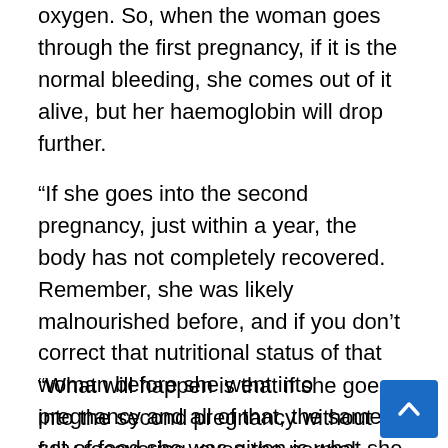oxygen. So, when the woman goes through the first pregnancy, if it is the normal bleeding, she comes out of it alive, but her haemoglobin will drop further.
“If she goes into the second pregnancy, just within a year, the body has not completely recovered. Remember, she was likely malnourished before, and if you don’t correct that nutritional status of that woman before she went into pregnancy and all of that, the same set of food she was given is what she will continue to eat in terms of quantity and quality.
“What will happen is that if she goes into the second pregnancy without fully recovering, even the normal bleeding women have after delivery,